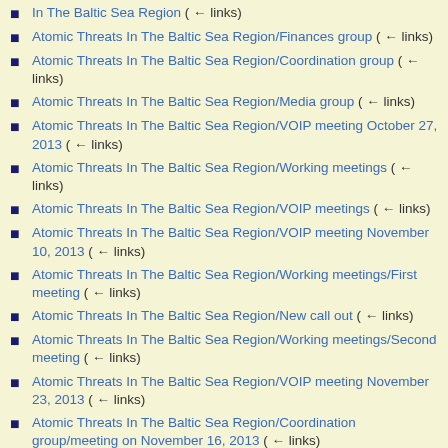In The Baltic Sea Region  (← links)
Atomic Threats In The Baltic Sea Region/Finances group  (← links)
Atomic Threats In The Baltic Sea Region/Coordination group  (← links)
Atomic Threats In The Baltic Sea Region/Media group  (← links)
Atomic Threats In The Baltic Sea Region/VOIP meeting October 27, 2013  (← links)
Atomic Threats In The Baltic Sea Region/Working meetings  (← links)
Atomic Threats In The Baltic Sea Region/VOIP meetings  (← links)
Atomic Threats In The Baltic Sea Region/VOIP meeting November 10, 2013  (← links)
Atomic Threats In The Baltic Sea Region/Working meetings/First meeting  (← links)
Atomic Threats In The Baltic Sea Region/New call out  (← links)
Atomic Threats In The Baltic Sea Region/Working meetings/Second meeting  (← links)
Atomic Threats In The Baltic Sea Region/VOIP meeting November 23, 2013  (← links)
Atomic Threats In The Baltic Sea Region/Coordination group/meeting on November 16, 2013  (← links)
User:Kardan/Atomic Threats In The Baltic Sea Region/Work section  (← links)
User:Kardan/Atomic Threats In The Baltic Sea Region  (← links)
User:Kardan/Atomic Threats In The Baltic Sea Region/Book project  (←